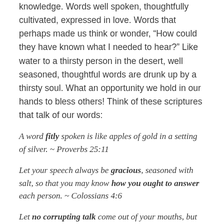knowledge. Words well spoken, thoughtfully cultivated, expressed in love. Words that perhaps made us think or wonder, “How could they have known what I needed to hear?” Like water to a thirsty person in the desert, well seasoned, thoughtful words are drunk up by a thirsty soul. What an opportunity we hold in our hands to bless others! Think of these scriptures that talk of our words:
A word fitly spoken is like apples of gold in a setting of silver. ~ Proverbs 25:11
Let your speech always be gracious, seasoned with salt, so that you may know how you ought to answer each person. ~ Colossians 4:6
Let no corrupting talk come out of your mouths, but only such as is good for building up